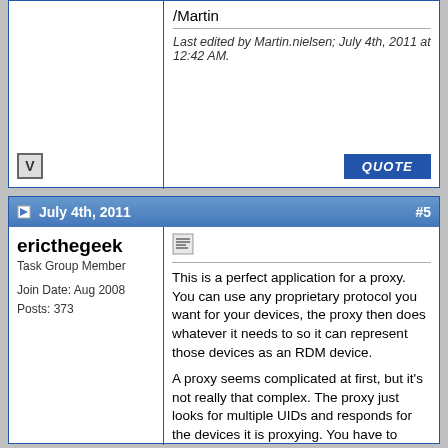/Martin
Last edited by Martin.nielsen; July 4th, 2011 at 12:42 AM.
July 4th, 2011   #5
ericthegeek
Task Group Member
Join Date: Aug 2008
Posts: 373
This is a perfect application for a proxy. You can use any proprietary protocol you want for your devices, the proxy then does whatever it needs to so it can represent those devices as an RDM device.

A proxy seems complicated at first, but it's not really that complex. The proxy just looks for multiple UIDs and responds for the devices it is proxying. You have to make a few tweaks to your discovery routines (make sure the mute response flags are correct), but they are minor.